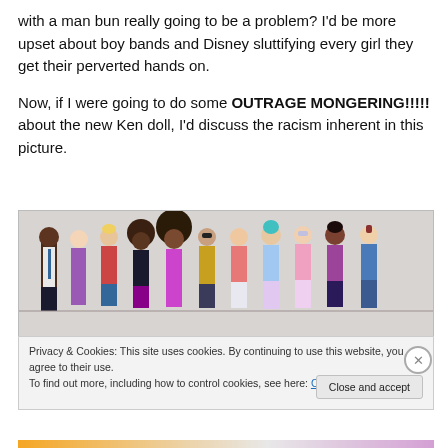with a man bun really going to be a problem? I'd be more upset about boy bands and Disney sluttifying every girl they get their perverted hands on.
Now, if I were going to do some OUTRAGE MONGERING!!!!! about the new Ken doll, I'd discuss the racism inherent in this picture.
[Figure (photo): A lineup of Barbie and Ken dolls of diverse skin tones, hair styles, and outfits standing together against a light grey background.]
Privacy & Cookies: This site uses cookies. By continuing to use this website, you agree to their use.
To find out more, including how to control cookies, see here: Cookie Policy